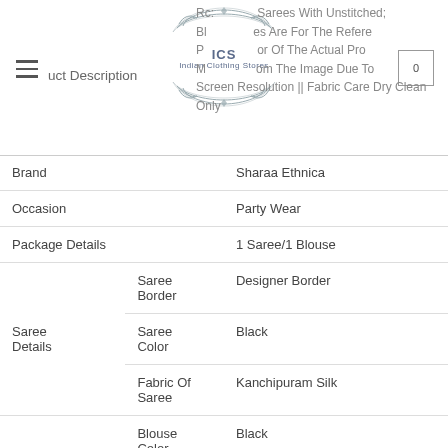ICS Indian Clothing Stores
Rc: Sarees With Unstitched; Bl: es Are For The Reference; P: or Of The Actual Pr; M: om The Image Due To Screen Resolution || Fabric Care Dry Clean Only
| Category | Sub-category | Value |
| --- | --- | --- |
| Brand |  | Sharaa Ethnica |
| Occasion |  | Party Wear |
| Package Details |  | 1 Saree/1 Blouse |
| Saree Details | Saree Border | Designer Border |
| Saree Details | Saree Color | Black |
| Saree Details | Fabric Of Saree | Kanchipuram Silk |
|  | Blouse Color | Black |
|  | Blouse | ... |